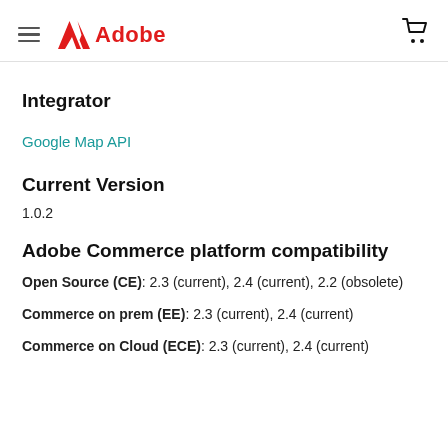Adobe
Integrator
Google Map API
Current Version
1.0.2
Adobe Commerce platform compatibility
Open Source (CE): 2.3 (current), 2.4 (current), 2.2 (obsolete)
Commerce on prem (EE): 2.3 (current), 2.4 (current)
Commerce on Cloud (ECE): 2.3 (current), 2.4 (current)